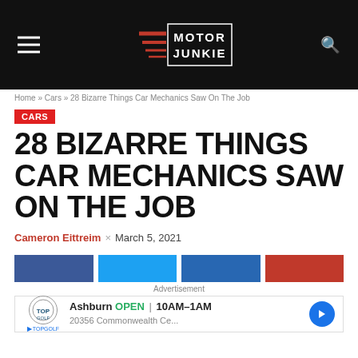Motor Junkie
Home » Cars » 28 Bizarre Things Car Mechanics Saw On The Job
CARS
28 BIZARRE THINGS CAR MECHANICS SAW ON THE JOB
Cameron Eittreim × March 5, 2021
Advertisement
Ashburn OPEN 10AM–1AM 20356 Commonwealth Ce...